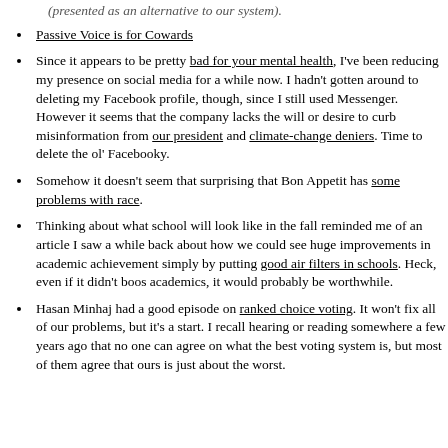(presented as an alternative to our system).
Passive Voice is for Cowards
Since it appears to be pretty bad for your mental health, I've been reducing my presence on social media for a while now. I hadn't gotten around to deleting my Facebook profile, though, since I still used Messenger. However it seems that the company lacks the will or desire to curb misinformation from our president and climate-change deniers. Time to delete the ol' Facebooky.
Somehow it doesn't seem that surprising that Bon Appetit has some problems with race.
Thinking about what school will look like in the fall reminded me of an article I saw a while back about how we could see huge improvements in academic achievement simply by putting good air filters in schools. Heck, even if it didn't boos academics, it would probably be worthwhile.
Hasan Minhaj had a good episode on ranked choice voting. It won't fix all of our problems, but it's a start. I recall hearing or reading somewhere a few years ago that no one can agree on what the best voting system is, but most of them agree that ours is just about the worst.